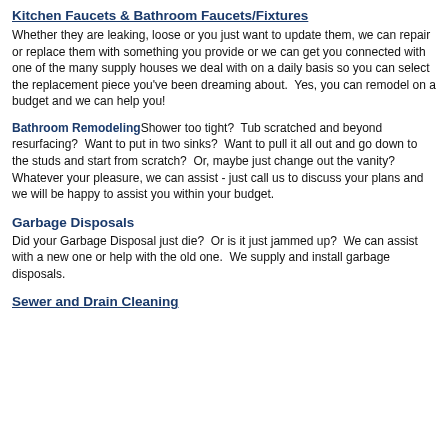Kitchen Faucets & Bathroom Faucets/Fixtures
Whether they are leaking, loose or you just want to update them, we can repair or replace them with something you provide or we can get you connected with one of the many supply houses we deal with on a daily basis so you can select the replacement piece you've been dreaming about.  Yes, you can remodel on a budget and we can help you!
Bathroom RemodelingShower too tight?  Tub scratched and beyond resurfacing?  Want to put in two sinks?  Want to pull it all out and go down to the studs and start from scratch?  Or, maybe just change out the vanity?  Whatever your pleasure, we can assist - just call us to discuss your plans and we will be happy to assist you within your budget.
Garbage Disposals
Did your Garbage Disposal just die?  Or is it just jammed up?  We can assist with a new one or help with the old one.  We supply and install garbage disposals.
Sewer and Drain Cleaning